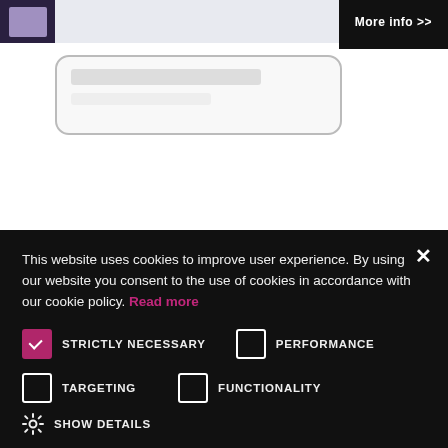[Figure (screenshot): Partial website banner with dark image thumbnail on left, white area in center, and 'More info >>' button on right with black background]
[Figure (screenshot): Partial view of a device mockup (phone or tablet) frame with rounded corners]
This website uses cookies to improve user experience. By using our website you consent to the use of cookies in accordance with our cookie policy. Read more
STRICTLY NECESSARY (checked)
PERFORMANCE (unchecked)
TARGETING (unchecked)
FUNCTIONALITY (unchecked)
SHOW DETAILS
ACCEPT ALL
DECLINE ALL